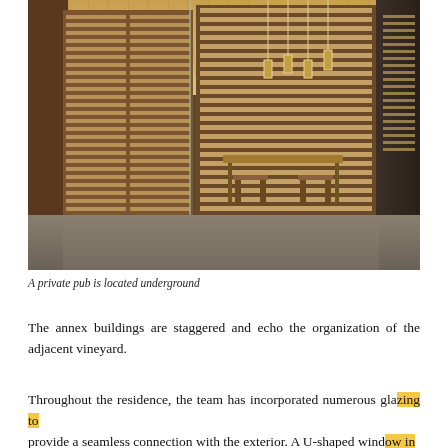[Figure (photo): Interior photo of a private underground pub/wine cellar with floor-to-ceiling wine racks illuminated with warm lighting, a central tasting table with chairs, pendant lights hanging from a slatted wooden ceiling, glass walls, and concrete floors.]
A private pub is located underground
The annex buildings are staggered and echo the organization of the adjacent vineyard.
Throughout the residence, the team has incorporated numerous glazing to provide a seamless connection with the exterior. A U-shaped window in